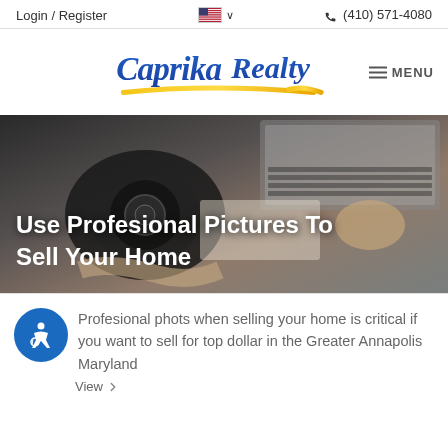Login / Register   🇺🇸 ∨   (410) 571-4080
[Figure (logo): Caprika Realty logo in blue and gold script with MENU hamburger icon]
[Figure (photo): Person holding a DSLR camera near a laptop, scene for professional photography article. Overlay text: Use Profesional Pictures To Sell Your Home]
Profesional phots when selling your home is critical if you want to sell for top dollar in the Greater Annapolis Maryland
View